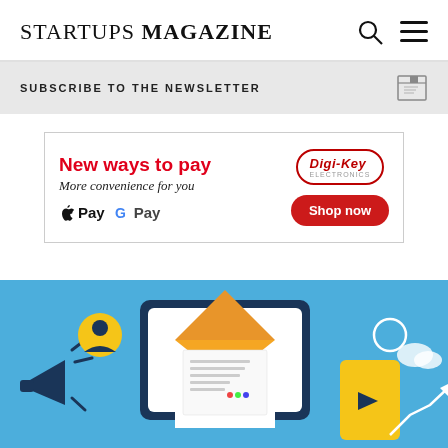STARTUPS MAGAZINE
SUBSCRIBE TO THE NEWSLETTER
[Figure (infographic): Digi-Key advertisement banner: New ways to pay - More convenience for you - Apple Pay, Google Pay - Shop now button - Digi-Key Electronics logo]
[Figure (illustration): Email marketing illustration with envelope, letter, tablet, megaphone and other digital communication icons on a blue background]